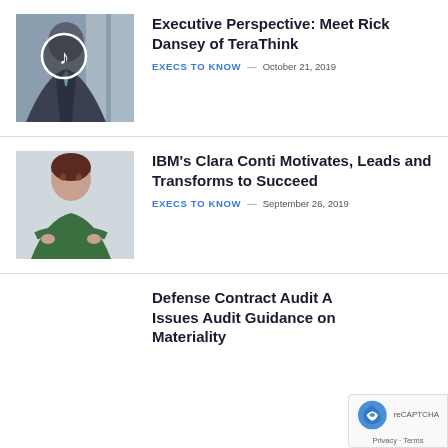[Figure (photo): Photo of Rick Dansey, a man in a suit, with a music/play icon overlay circle on his face]
Executive Perspective: Meet Rick Dansey of TeraThink
EXECS TO KNOW — October 21, 2019
[Figure (photo): Photo of IBM's Clara Conti, a woman in a green jacket with arms crossed]
IBM's Clara Conti Motivates, Leads and Transforms to Succeed
EXECS TO KNOW — September 26, 2019
Defense Contract Audit A… Issues Audit Guidance on… Materiality